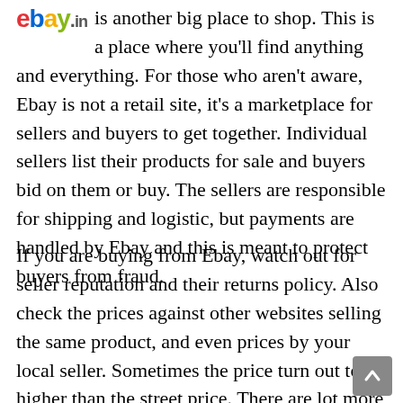[Figure (logo): eBay.in logo in colorful lettering]
is another big place to shop. This is a place where you'll find anything and everything. For those who aren't aware, Ebay is not a retail site, it's a marketplace for sellers and buyers to get together. Individual sellers list their products for sale and buyers bid on them or buy. The sellers are responsible for shipping and logistic, but payments are handled by Ebay and this is meant to protect buyers from fraud.
If you are buying from Ebay, watch out for seller reputation and their returns policy. Also check the prices against other websites selling the same product, and even prices by your local seller. Sometimes the price turn out to be higher than the street price. There are lot more things that you should be aware of when you are shopping at